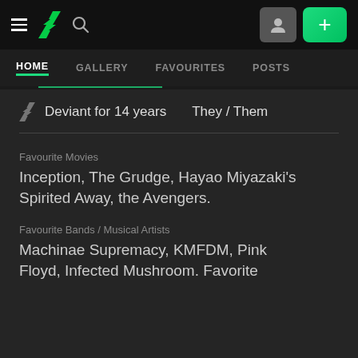DeviantArt navigation bar with hamburger, logo, search, user icon, and + button
HOME  GALLERY  FAVOURITES  POSTS
Deviant for 14 years    They / Them
Favourite Movies
Inception, The Grudge, Hayao Miyazaki's Spirited Away, the Avengers.
Favourite Bands / Musical Artists
Machinae Supremacy, KMFDM, Pink Floyd, Infected Mushroom. Favorite